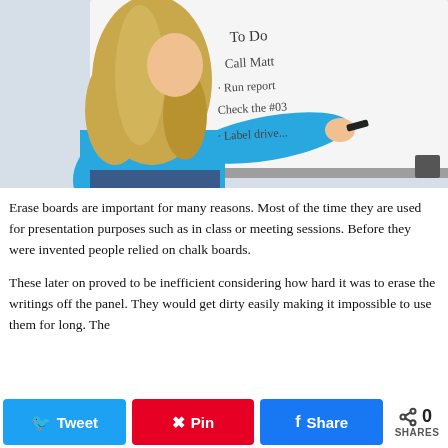[Figure (photo): Woman with long blonde hair wearing a blue t-shirt writing a to-do list on a whiteboard. The list reads: To Do, Call Matt, Run report, Check the #03, Label drive...]
Erase boards are important for many reasons. Most of the time they are used for presentation purposes such as in class or meeting sessions. Before they were invented people relied on chalk boards.
These later on proved to be inefficient considering how hard it was to erase the writings off the panel. They would get dirty easily making it impossible to use them for long. The